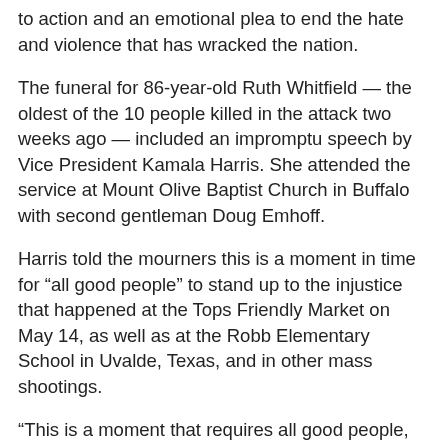to action and an emotional plea to end the hate and violence that has wracked the nation.
The funeral for 86-year-old Ruth Whitfield — the oldest of the 10 people killed in the attack two weeks ago — included an impromptu speech by Vice President Kamala Harris. She attended the service at Mount Olive Baptist Church in Buffalo with second gentleman Doug Emhoff.
Harris told the mourners this is a moment in time for “all good people” to stand up to the injustice that happened at the Tops Friendly Market on May 14, as well as at the Robb Elementary School in Uvalde, Texas, and in other mass shootings.
“This is a moment that requires all good people, all God-loving people to stand up and say we will not stand for this. Enough is enough,” said Harris, who wasn't scheduled to speak and came to the microphone at the urging of the Rev. Al Sharpton. “We will come together based on what we all know we have in common, and we will not let those people